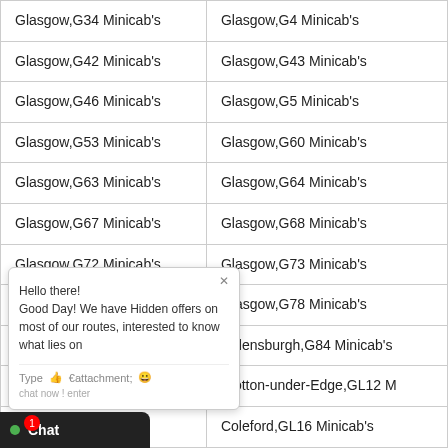| Glasgow,G34 Minicab's | Glasgow,G4 Minicab's |
| Glasgow,G42 Minicab's | Glasgow,G43 Minicab's |
| Glasgow,G46 Minicab's | Glasgow,G5 Minicab's |
| Glasgow,G53 Minicab's | Glasgow,G60 Minicab's |
| Glasgow,G63 Minicab's | Glasgow,G64 Minicab's |
| Glasgow,G67 Minicab's | Glasgow,G68 Minicab's |
| Glasgow,G72 Minicab's | Glasgow,G73 Minicab's |
| Gla[…]ab's | Glasgow,G78 Minicab's |
| Arr[…]ab's | Helensburgh,G84 Minicab's |
| Du[…]ab's | Wotton-under-Edge,GL12 M |
| Lyc[…]ab's | Coleford,GL16 Minicab's |
| […]ter,GL19 Minicab's | Gloucester,GL2 Minicab's |